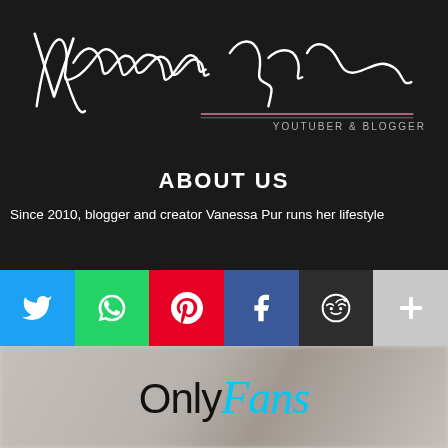[Figure (logo): Vanessa Pur signature logo in white cursive script on dark background with pink underline and subtitle YOUTUBER & BLOGGER]
ABOUT US
Since 2010, blogger and creator Vanessa Pur runs her lifestyle
[Figure (infographic): Social sharing buttons row: Twitter (blue), WhatsApp (green), Pinterest (red), Facebook (dark blue), Reddit (dark grey), More/Plus (light grey)]
[Figure (logo): OnlyFans logo with black sans-serif Only and cyan italic script Fans, on blurred light background with person silhouette]